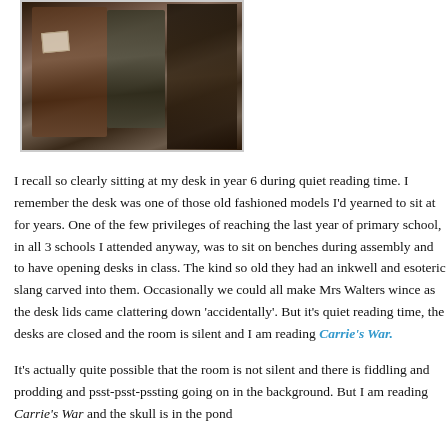[Figure (photo): Two children in vintage/wartime clothing standing near what appears to be a train or vehicle, one wearing a coat with a label, the other in a cap.]
I recall so clearly sitting at my desk in year 6 during quiet reading time. I remember the desk was one of those old fashioned models I'd yearned to sit at for years. One of the few privileges of reaching the last year of primary school, in all 3 schools I attended anyway, was to sit on benches during assembly and to have opening desks in class. The kind so old they had an inkwell and esoteric slang carved into them. Occasionally we could all make Mrs Walters wince as the desk lids came clattering down 'accidentally'. But it's quiet reading time, the desks are closed and the room is silent and I am reading Carrie's War.
It's actually quite possible that the room is not silent and there is fiddling and prodding and psst-psst-pssting going on in the background. But I am reading Carrie's War and the skull is in the pond